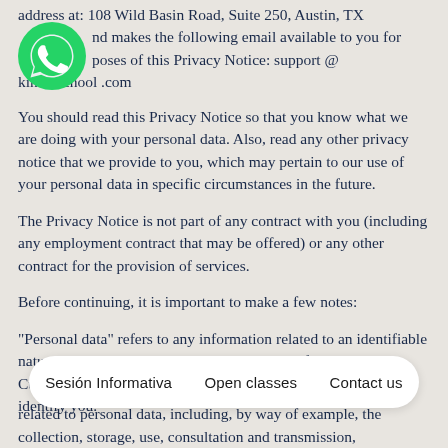address at: 108 Wild Basin Road, Suite 250, Austin, TX and makes the following email available to you for poses of this Privacy Notice: support @ kinichschool .com
You should read this Privacy Notice so that you know what we are doing with your personal data. Also, read any other privacy notice that we provide to you, which may pertain to our use of your personal data in specific circumstances in the future.
The Privacy Notice is not part of any contract with you (including any employment contract that may be offered) or any other contract for the provision of services.
Before continuing, it is important to make a few notes:
“Personal data” refers to any information related to an identifiable natural person. Your name, address, contact information and Curriculum Vitae are examples of your personal data, if they identify you.
[Figure (logo): WhatsApp green phone logo icon]
Sesión Informativa    Open classes    Contact us
related to personal data, including, by way of example, the collection, storage, use, consultation and transmission,